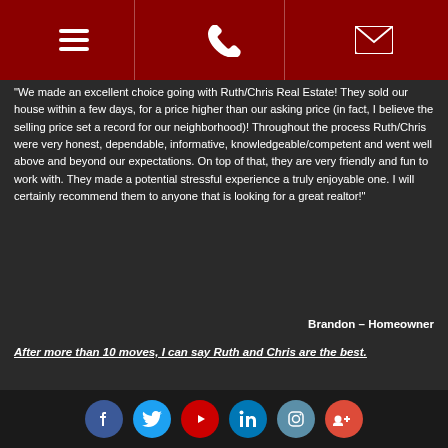[Figure (infographic): Navigation bar with hamburger menu, phone, and email icons on dark red background]
“We made an excellent choice going with Ruth/Chris Real Estate! They sold our house within a few days, for a price higher than our asking price (in fact, I believe the selling price set a record for our neighborhood)! Throughout the process Ruth/Chris were very honest, dependable, informative, knowledgeable/competent and went well above and beyond our expectations. On top of that, they are very friendly and fun to work with. They made a potential stressful experience a truly enjoyable one. I will certainly recommend them to anyone that is looking for a great realtor!"
Brandon – Homeowner
After more than 10 moves, I can say Ruth and Chris are the best.
[Figure (infographic): Social media icons row: Facebook, Twitter, YouTube, LinkedIn, Instagram, Google+]